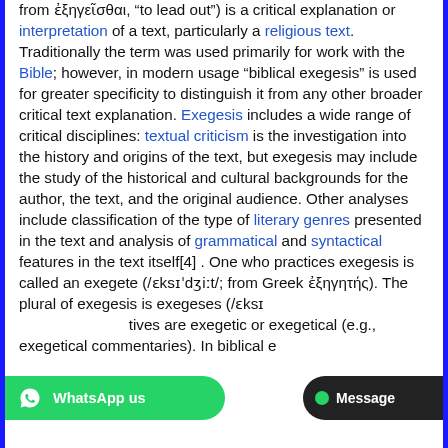from ἐξηγεῖσθαι, "to lead out") is a critical explanation or interpretation of a text, particularly a religious text. Traditionally the term was used primarily for work with the Bible; however, in modern usage "biblical exegesis" is used for greater specificity to distinguish it from any other broader critical text explanation. Exegesis includes a wide range of critical disciplines: textual criticism is the investigation into the history and origins of the text, but exegesis may include the study of the historical and cultural backgrounds for the author, the text, and the original audience. Other analyses include classification of the type of literary genres presented in the text and analysis of grammatical and syntactical features in the text itself[4]. One who practices exegesis is called an exegete (/ɛksɪˈdʒiːt/; from Greek ἐξηγητής). The plural of exegesis is exegeses (/ɛksɪ...tives are exegetic or exegetical (e.g., exegetical commentaries). In biblical e...